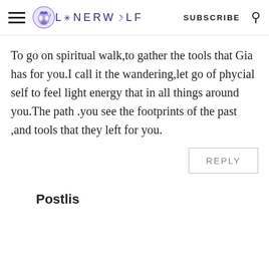LONERWOLF SUBSCRIBE
To go on spiritual walk,to gather the tools that Gia has for you.I call it the wandering,let go of phycial self to feel light energy that in all things around you.The path .you see the footprints of the past ,and tools that they left for you.
REPLY
Postlis